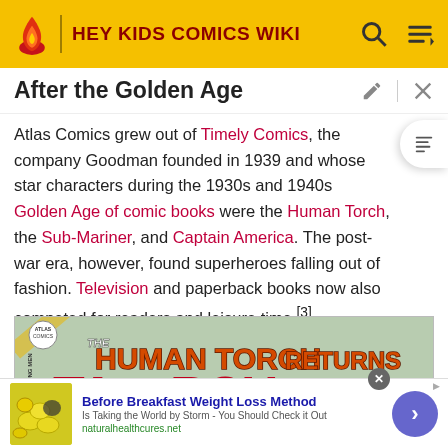HEY KIDS COMICS WIKI
After the Golden Age
Atlas Comics grew out of Timely Comics, the company Goodman founded in 1939 and whose star characters during the 1930s and 1940s Golden Age of comic books were the Human Torch, the Sub-Mariner, and Captain America. The post-war era, however, found superheroes falling out of fashion. Television and paperback books now also competed for readers and leisure time.[3]
[Figure (illustration): Comic book cover showing 'The Human Torch Returns' with large red lettering on a light green background, Atlas Comics label visible, February issue]
[Figure (screenshot): Advertisement: Before Breakfast Weight Loss Method - Is Taking the World by Storm - You Should Check it Out - naturalhealthcures.net, with thumbnail of lemons/food and blue arrow button]